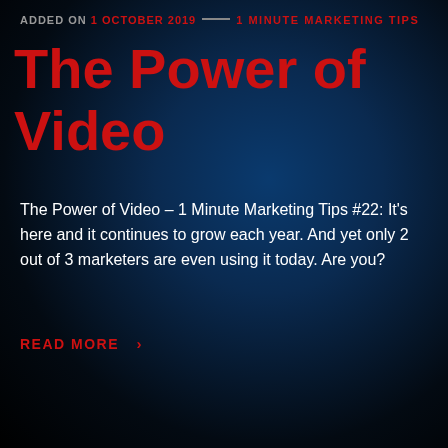ADDED ON 1 OCTOBER 2019 — 1 MINUTE MARKETING TIPS
The Power of Video
The Power of Video – 1 Minute Marketing Tips #22: It's here and it continues to grow each year. And yet only 2 out of 3 marketers are even using it today. Are you?
READ MORE ›